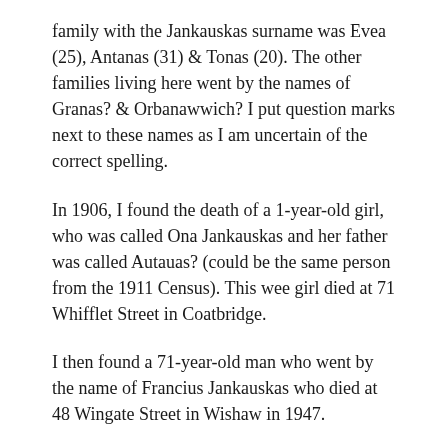family with the Jankauskas surname was Evea (25), Antanas (31) & Tonas (20). The other families living here went by the names of Granas? & Orbanawwich? I put question marks next to these names as I am uncertain of the correct spelling.
In 1906, I found the death of a 1-year-old girl, who was called Ona Jankauskas and her father was called Autauas? (could be the same person from the 1911 Census). This wee girl died at 71 Whifflet Street in Coatbridge.
I then found a 71-year-old man who went by the name of Francius Jankauskas who died at 48 Wingate Street in Wishaw in 1947.
Other names with the surname of Jankauskas that I found in Scotland are as follows: